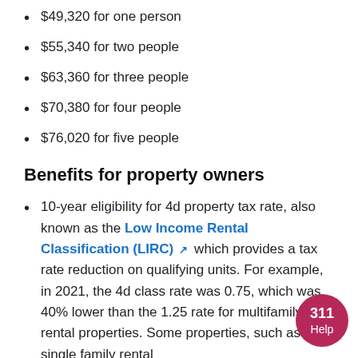$49,320 for one person
$55,340 for two people
$63,360 for three people
$70,380 for four people
$76,020 for five people
Benefits for property owners
10-year eligibility for 4d property tax rate, also known as the Low Income Rental Classification (LIRC) which provides a tax rate reduction on qualifying units. For example, in 2021, the 4d class rate was 0.75, which was 40% lower than the 1.25 rate for multifamily rental properties. Some properties, such as single family rental